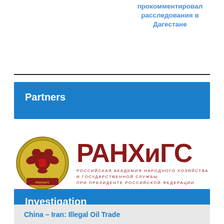прокомментировал расследования в Дагестане
Partners
[Figure (logo): РАНХиГС logo — Russian Presidential Academy of National Economy and Public Administration emblem and logotype]
Investigation
China – Iran: Illegal Oil Trade